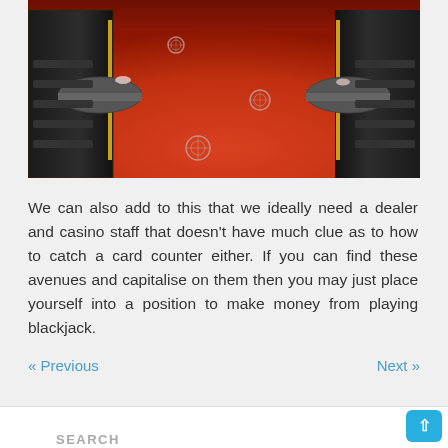[Figure (photo): Interior of a casino with a bright red floor, black marble furniture with gold accents, and round tables, viewed from a low angle looking down a corridor.]
We can also add to this that we ideally need a dealer and casino staff that doesn't have much clue as to how to catch a card counter either. If you can find these avenues and capitalise on them then you may just place yourself into a position to make money from playing blackjack.
« Previous   Next »
SEARCH